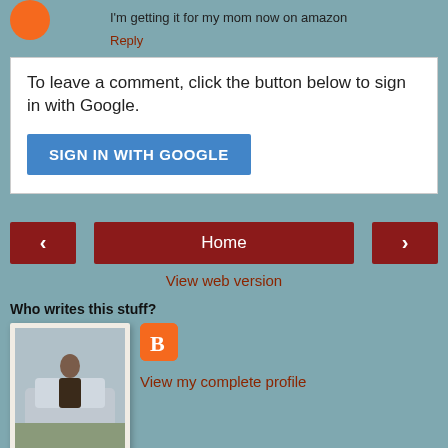I'm getting it for my mom now on amazon
Reply
To leave a comment, click the button below to sign in with Google.
SIGN IN WITH GOOGLE
Home
View web version
Who writes this stuff?
[Figure (photo): Profile photo of blogger - person standing outside near a vehicle]
[Figure (logo): Blogger orange B logo icon]
View my complete profile
Powered by Blogger.